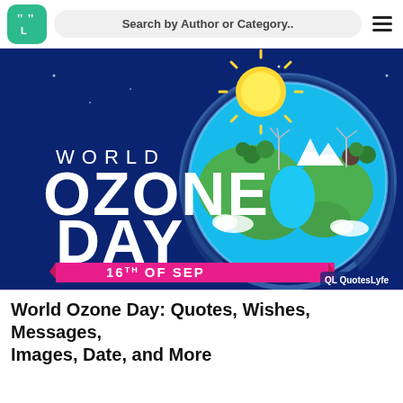QuotesLyfe – Search by Author or Category..
[Figure (illustration): World Ozone Day banner: dark blue background with large white bold text 'WORLD OZONE DAY', a pink ribbon banner reading '16TH OF SEP', and an illustrated globe with green landmasses, wind turbines, trees, mountains, a glowing sun, and a translucent ozone layer arc. QuotesLyfe logo watermark in bottom right.]
World Ozone Day: Quotes, Wishes, Messages, Images, Date, and More